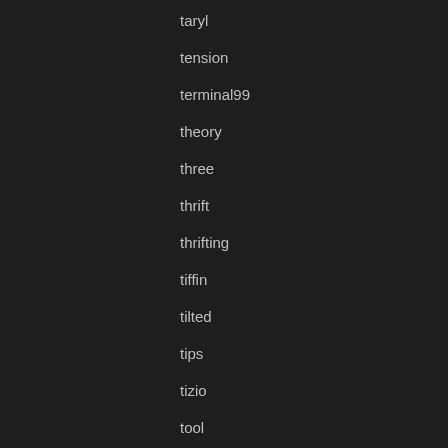taryl
tension
terminal99
theory
three
thrift
thrifting
tiffin
tilted
tips
tizio
tool
toyota
transformation
transporter